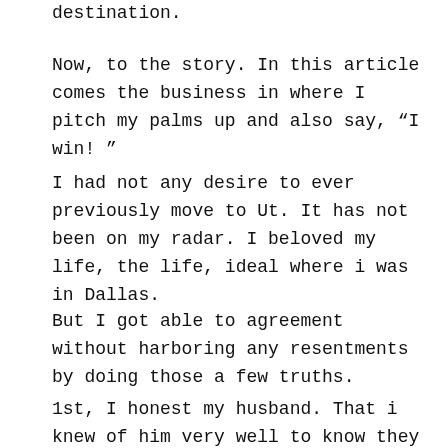destination.
Now, to the story. In this article comes the business in where I pitch my palms up and also say, “I win! ”
I had not any desire to ever previously move to Ut. It has not been on my radar. I beloved my life, the life, ideal where i was in Dallas.
But I got able to agreement without harboring any resentments by doing those a few truths.
1st, I honest my husband. That i knew of him very well to know they wasn’t going after prestige or perhaps paycheck. I also knew that they had very own best